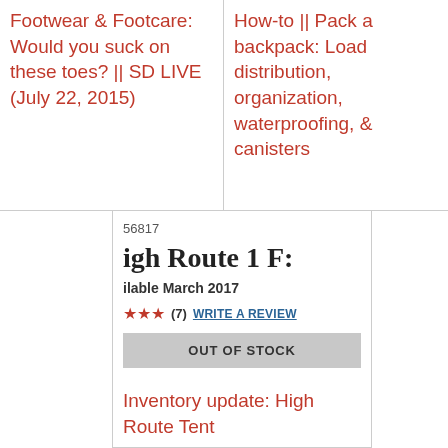Footwear & Footcare: Would you suck on these toes? || SD LIVE (July 22, 2015)
How-to || Pack a backpack: Load distribution, organization, waterproofing, & canisters
56817
igh Route 1 F:
ilable March 2017
★★★ (7)  WRITE A REVIEW
OUT OF STOCK
Inventory update: High Route Tent